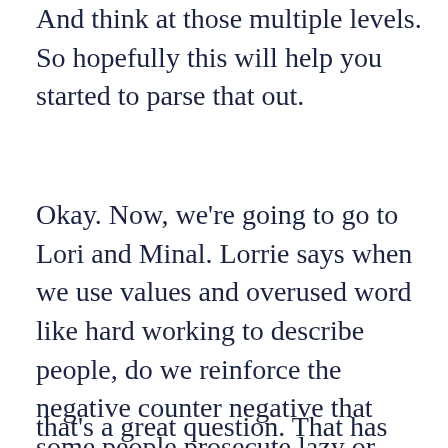And think at those multiple levels. So hopefully this will help you started to parse that out.
Okay. Now, we're going to go to Lori and Minal. Lorrie says when we use values and overused word like hard working to describe people, do we reinforce the negative counter negative that some people prosecute lazy or don't want to work?
that's a great question. That has come up